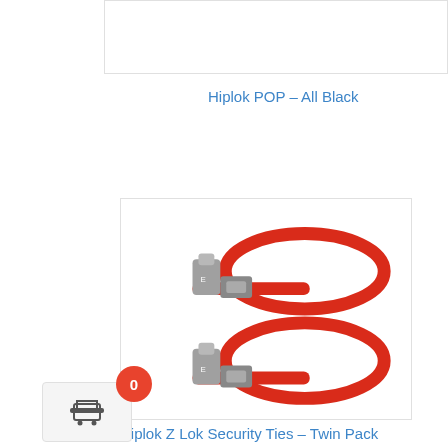[Figure (photo): Product image placeholder for Hiplok POP – All Black (white/empty area at top)]
Hiplok POP – All Black
[Figure (photo): Two red Hiplok Z Lok security cable ties with silver metal locking mechanism, shown on white background]
Hiplok Z Lok Security Ties – Twin Pack
[Figure (other): Shopping cart widget with orange/red badge showing '0' items]